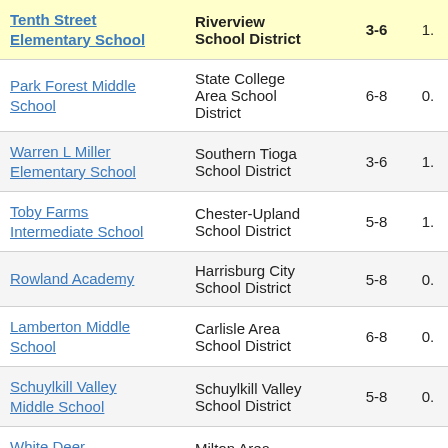| School | District | Grades |  |
| --- | --- | --- | --- |
| Tenth Street Elementary School | Riverview School District | 3-6 | 1. |
| Park Forest Middle School | State College Area School District | 6-8 | 0. |
| Warren L Miller Elementary School | Southern Tioga School District | 3-6 | 1. |
| Toby Farms Intermediate School | Chester-Upland School District | 5-8 | 1. |
| Rowland Academy | Harrisburg City School District | 5-8 | 0. |
| Lamberton Middle School | Carlisle Area School District | 6-8 | 0. |
| Schuylkill Valley Middle School | Schuylkill Valley School District | 5-8 | 0. |
| White Deer Elementary School | Milton Area School District | 3-5 | 2. |